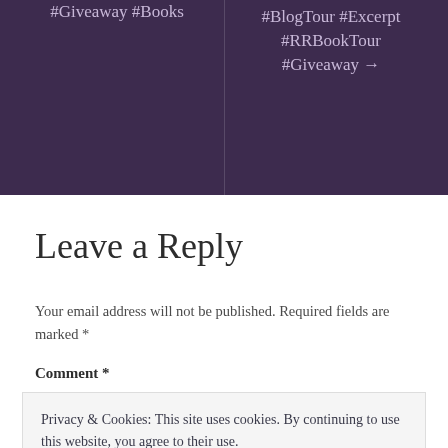#Giveaway #Books
#BlogTour #Excerpt #RRBookTour #Giveaway →
Leave a Reply
Your email address will not be published. Required fields are marked *
Comment *
Privacy & Cookies: This site uses cookies. By continuing to use this website, you agree to their use.
To find out more, including how to control cookies, see here: Cookie Policy
Close and accept